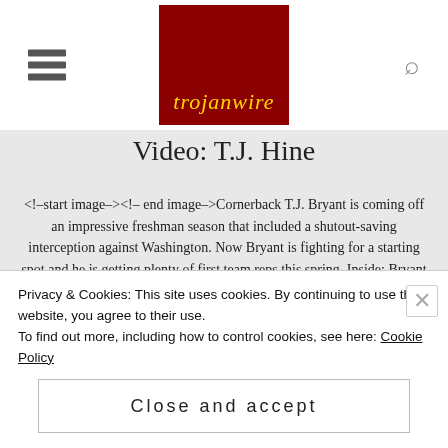[Figure (logo): Trojanwire logo: dark red square with gold italic text 'trojanwire']
Video: T.J. Hine
<!--start image--><!-- end image-->Cornerback T.J. Bryant is coming off an impressive freshman season that included a shutout-saving interception against Washington. Now Bryant is fighting for a starting spot and he is getting plenty of first team reps this spring. Inside: Bryant talks
Privacy & Cookies: This site uses cookies. By continuing to use this website, you agree to their use.
To find out more, including how to control cookies, see here: Cookie Policy
Close and accept